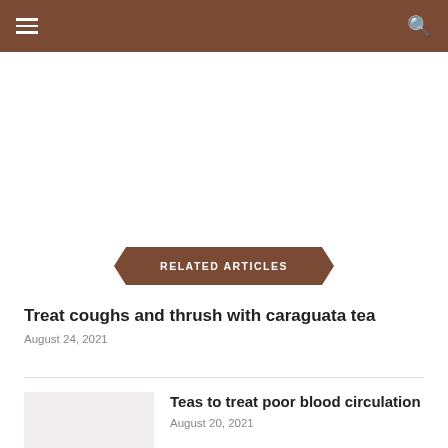RELATED ARTICLES
Treat coughs and thrush with caraguata tea
August 24, 2021
Teas to treat poor blood circulation
August 20, 2021